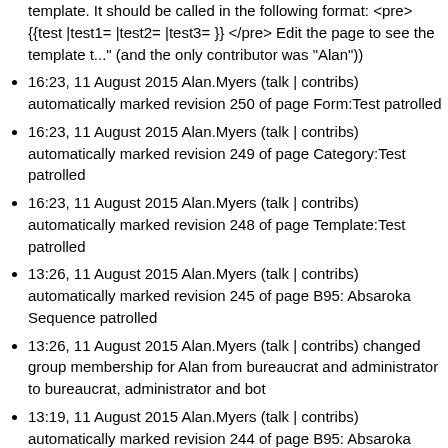template. It should be called in the following format: <pre> {{test |test1= |test2= |test3= }} </pre> Edit the page to see the template t..." (and the only contributor was "Alan"))
16:23, 11 August 2015 Alan.Myers (talk | contribs) automatically marked revision 250 of page Form:Test patrolled
16:23, 11 August 2015 Alan.Myers (talk | contribs) automatically marked revision 249 of page Category:Test patrolled
16:23, 11 August 2015 Alan.Myers (talk | contribs) automatically marked revision 248 of page Template:Test patrolled
13:26, 11 August 2015 Alan.Myers (talk | contribs) automatically marked revision 245 of page B95: Absaroka Sequence patrolled
13:26, 11 August 2015 Alan.Myers (talk | contribs) changed group membership for Alan from bureaucrat and administrator to bureaucrat, administrator and bot
13:19, 11 August 2015 Alan.Myers (talk | contribs) automatically marked revision 244 of page B95: Absaroka Sequence patrolled
13:18, 11 August 2015 Alan.Myers (talk | contribs) changed group membership for Testbot from (none) to bot
13:17, 11 August 2015 User account 3.237.6.144 (talk) was created by Alan.Myers (talk | contribs)